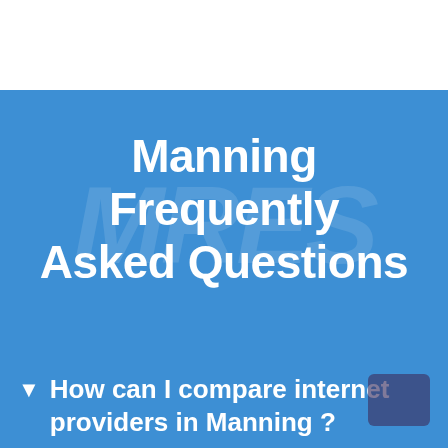Manning Frequently Asked Questions
How can I compare internet providers in Manning ?